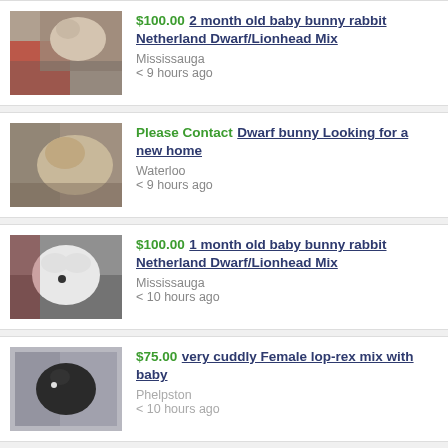$100.00 2 month old baby bunny rabbit Netherland Dwarf/Lionhead Mix, Mississauga, < 9 hours ago
Please Contact Dwarf bunny Looking for a new home, Waterloo, < 9 hours ago
$100.00 1 month old baby bunny rabbit Netherland Dwarf/Lionhead Mix, Mississauga, < 10 hours ago
$75.00 very cuddly Female lop-rex mix with baby, Phelpston, < 10 hours ago